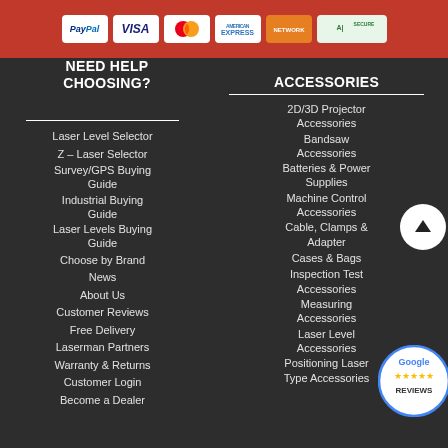[Figure (other): Payment icons: PayPal, Visa, Mastercard, American Express, Network, Secure badge on red bar]
NEED HELP CHOOSING?
Laser Level Selector
Z – Laser Selector
Survey/GPS Buying Guide
Industrial Buying Guide
Laser Levels Buying Guide
Choose by Brand
News
About Us
Customer Reviews
Free Delivery
Laserman Partners
Warranty & Returns
Customer Login
Become a Dealer
ACCESSORIES
2D/3D Projector Accessories
Bandsaw Accessories
Batteries & Power Supplies
Machine Control Accessories
Cable, Clamps & Adapter
Cases & Bags
Inspection Test Accessories
Measuring Accessories
Laser Level Accessories
Positioning Laser Type Accessories
[Figure (logo): Google Reviews badge with stars]